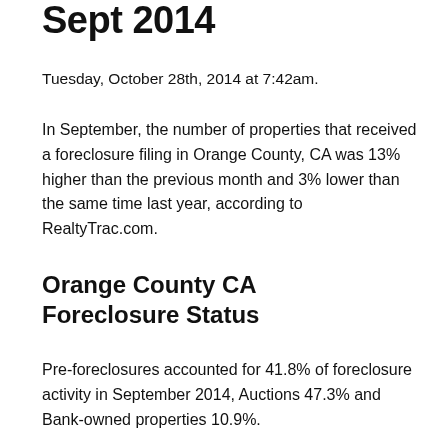Sept 2014
Tuesday, October 28th, 2014 at 7:42am.
In September, the number of properties that received a foreclosure filing in Orange County, CA was 13% higher than the previous month and 3% lower than the same time last year, according to RealtyTrac.com.
Orange County CA Foreclosure Status
Pre-foreclosures accounted for 41.8% of foreclosure activity in September 2014, Auctions 47.3% and Bank-owned properties 10.9%.